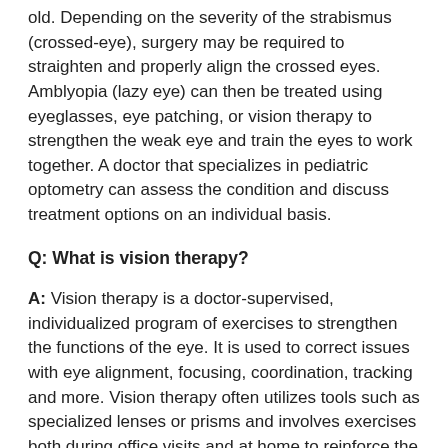old. Depending on the severity of the strabismus (crossed-eye), surgery may be required to straighten and properly align the crossed eyes. Amblyopia (lazy eye) can then be treated using eyeglasses, eye patching, or vision therapy to strengthen the weak eye and train the eyes to work together. A doctor that specializes in pediatric optometry can assess the condition and discuss treatment options on an individual basis.
Q: What is vision therapy?
A: Vision therapy is a doctor-supervised, individualized program of exercises to strengthen the functions of the eye. It is used to correct issues with eye alignment, focusing, coordination, tracking and more. Vision therapy often utilizes tools such as specialized lenses or prisms and involves exercises both during office visits and at home to reinforce the changes. The process usually takes about 6 months to see lasting improvement.
Q: My son’s nearsightedness keeps getting worse – he needs a new prescription every year. Is there a way to stop this?